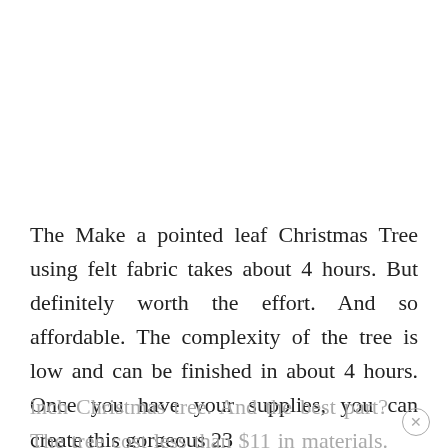The Make a pointed leaf Christmas Tree using felt fabric takes about 4 hours. But definitely worth the effort. And so affordable. The complexity of the tree is low and can be finished in about 4 hours. Once you have your supplies, you can create this gorgeous 23 inch Christmas tree. And the best part? The tree cost less than $11 in materials. Store